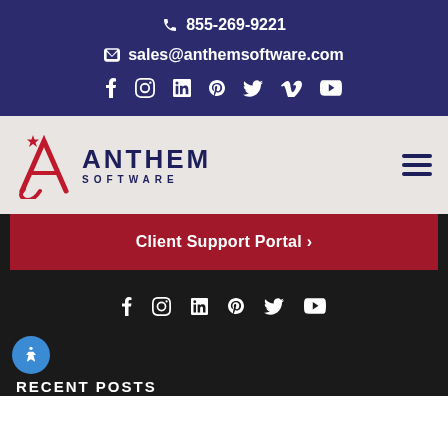📞 855-269-9221
✉ sales@anthemsoftware.com
f  IG  in  P  tw  V  ▶
[Figure (logo): Anthem Software logo with red stylized A and star, dark navy ANTHEM SOFTWARE wordmark]
Client Support Portal ›
f  IG  in  P  tw  ▶
RECENT POSTS